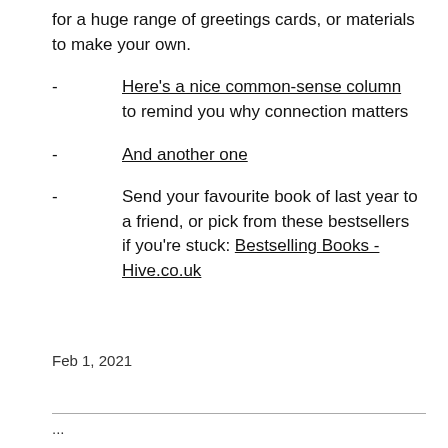for a huge range of greetings cards, or materials to make your own.
- Here's a nice common-sense column to remind you why connection matters
- And another one
- Send your favourite book of last year to a friend, or pick from these bestsellers if you're stuck: Bestselling Books - Hive.co.uk
Feb 1, 2021
...